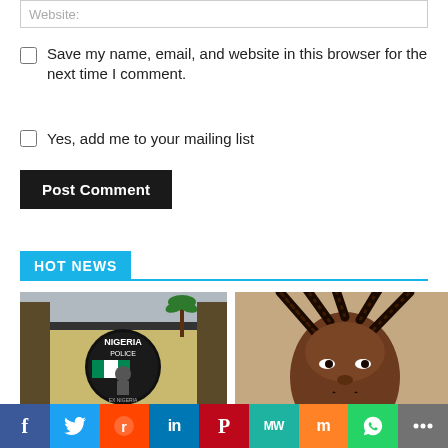Website:
Save my name, email, and website in this browser for the next time I comment.
Yes, add me to your mailing list
Post Comment
HOT NEWS
[Figure (photo): Nigeria Police Force sign/emblem at police station entrance]
[Figure (photo): Portrait of a young woman with braided hair]